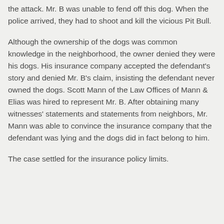the attack. Mr. B was unable to fend off this dog. When the police arrived, they had to shoot and kill the vicious Pit Bull.
Although the ownership of the dogs was common knowledge in the neighborhood, the owner denied they were his dogs. His insurance company accepted the defendant's story and denied Mr. B's claim, insisting the defendant never owned the dogs. Scott Mann of the Law Offices of Mann & Elias was hired to represent Mr. B. After obtaining many witnesses' statements and statements from neighbors, Mr. Mann was able to convince the insurance company that the defendant was lying and the dogs did in fact belong to him.
The case settled for the insurance policy limits.